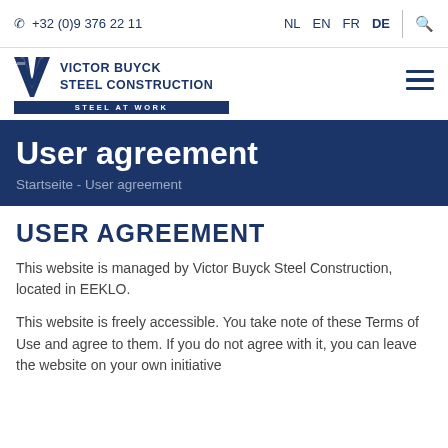+32 (0)9 376 22 11  NL  EN  FR  DE
[Figure (logo): Victor Buyck Steel Construction logo with V icon and tagline 'STEEL AT WORK']
User agreement
Startseite - User agreement
USER AGREEMENT
This website is managed by Victor Buyck Steel Construction, located in EEKLO.
This website is freely accessible. You take note of these Terms of Use and agree to them. If you do not agree with it, you can leave the website on your own initiative